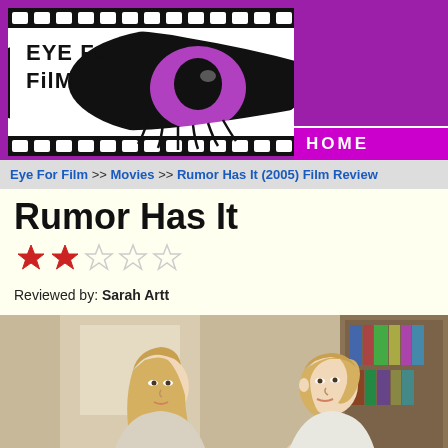[Figure (logo): Eye For Film logo with stylized eye graphic on film strip background, purple/black/white color scheme]
HOME
Eye For Film >> Movies >> Rumor Has It (2005) Film Review
Rumor Has It
[Figure (infographic): Star rating showing 2 out of 5 stars, with 2 filled red stars and 3 empty stars]
Reviewed by: Sarah Artt
[Figure (photo): Movie still from Rumor Has It showing two blonde women facing each other in profile, indoor setting]